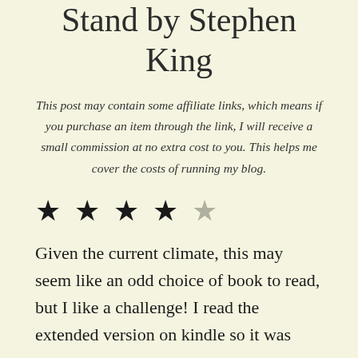Stand by Stephen King
This post may contain some affiliate links, which means if you purchase an item through the link, I will receive a small commission at no extra cost to you. This helps me cover the costs of running my blog.
[Figure (other): 4 out of 5 stars rating: four filled black stars and one empty/grey star]
Given the current climate, this may seem like an odd choice of book to read, but I like a challenge! I read the extended version on kindle so it was